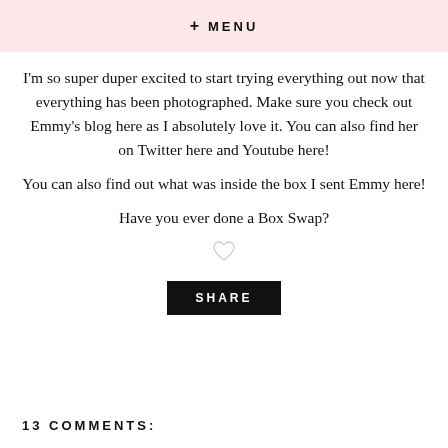+ MENU
I'm so super duper excited to start trying everything out now that everything has been photographed. Make sure you check out Emmy's blog here as I absolutely love it. You can also find her on Twitter here and Youtube here!
You can also find out what was inside the box I sent Emmy here!
Have you ever done a Box Swap?
[Figure (illustration): Heart/like icon outline]
SHARE
13 COMMENTS: